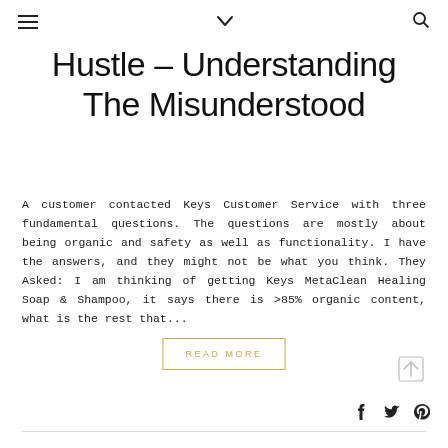≡  ∨  🔍
Hustle – Understanding The Misunderstood
A customer contacted Keys Customer Service with three fundamental questions. The questions are mostly about being organic and safety as well as functionality. I have the answers, and they might not be what you think. They Asked: I am thinking of getting Keys MetaClean Healing Soap & Shampoo, it says there is >85% organic content, what is the rest that...
READ MORE